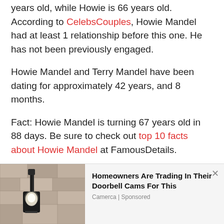years old, while Howie is 66 years old. According to CelebsCouples, Howie Mandel had at least 1 relationship before this one. He has not been previously engaged.
Howie Mandel and Terry Mandel have been dating for approximately 42 years, and 8 months.
Fact: Howie Mandel is turning 67 years old in 88 days. Be sure to check out top 10 facts about Howie Mandel at FamousDetails.
[Figure (photo): Outdoor wall-mounted light fixture with a white bulb, stone wall background]
Homeowners Are Trading In Their Doorbell Cams For This
Camerca | Sponsored